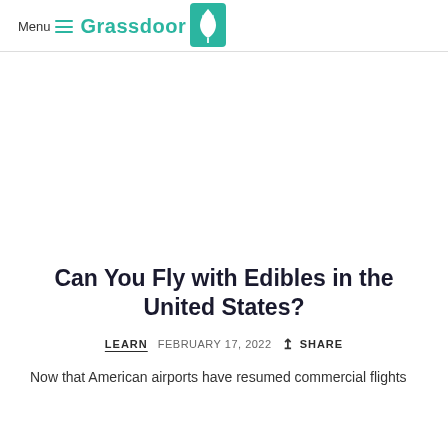Menu Grassdoor
Can You Fly with Edibles in the United States?
LEARN   FEBRUARY 17, 2022   SHARE
Now that American airports have resumed commercial flights